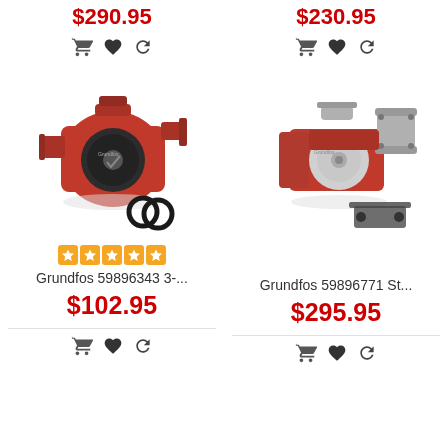$290.95
$230.95
[Figure (photo): Red Grundfos circulation pump with gasket rings]
[Figure (photo): Red Grundfos circulation pump with stainless flange and gasket]
Grundfos 59896343 3-...
Grundfos 59896771 St...
$102.95
$295.95